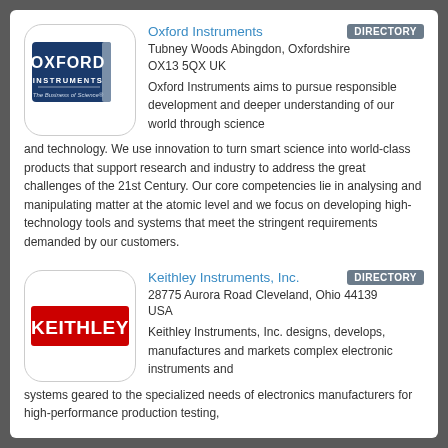[Figure (logo): Oxford Instruments logo - blue square with OXFORD INSTRUMENTS text and 'The Business of Science' tagline]
Oxford Instruments
DIRECTORY
Tubney Woods Abingdon, Oxfordshire OX13 5QX UK
Oxford Instruments aims to pursue responsible development and deeper understanding of our world through science and technology. We use innovation to turn smart science into world-class products that support research and industry to address the great challenges of the 21st Century. Our core competencies lie in analysing and manipulating matter at the atomic level and we focus on developing high-technology tools and systems that meet the stringent requirements demanded by our customers.
[Figure (logo): Keithley logo - red rectangle with white KEITHLEY text]
Keithley Instruments, Inc.
DIRECTORY
28775 Aurora Road Cleveland, Ohio 44139 USA
Keithley Instruments, Inc. designs, develops, manufactures and markets complex electronic instruments and systems geared to the specialized needs of electronics manufacturers for high-performance production testing,